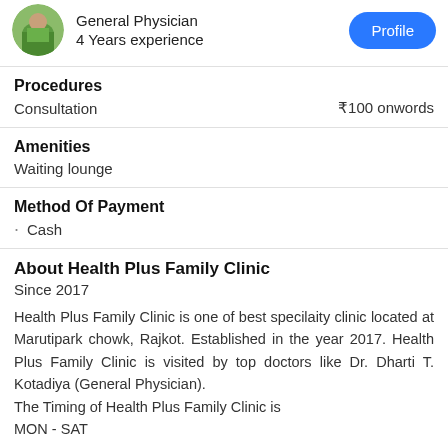[Figure (photo): Doctor profile photo (circular), showing a person outdoors in green clothing]
General Physician
4 Years experience
Profile
Procedures
Consultation	₹100 onwords
Amenities
Waiting lounge
Method Of Payment
Cash
About Health Plus Family Clinic
Since 2017
Health Plus Family Clinic is one of best specilaity clinic located at Marutipark chowk, Rajkot. Established in the year 2017. Health Plus Family Clinic is visited by top doctors like Dr. Dharti T. Kotadiya (General Physician).
The Timing of Health Plus Family Clinic is
MON - SAT